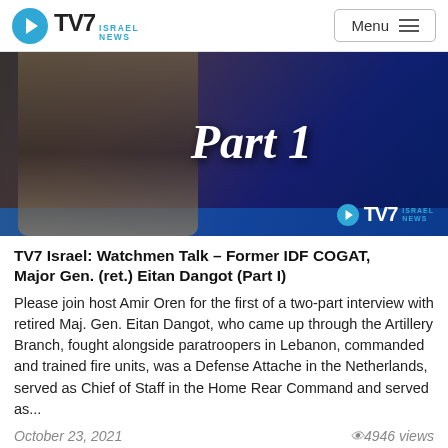TV7 ISRAEL NEWS | Menu
[Figure (photo): TV7 Israel News video thumbnail showing a man standing in a studio with 'Part 1' text overlay and TV7 Israel News watermark]
TV7 Israel: Watchmen Talk – Former IDF COGAT, Major Gen. (ret.) Eitan Dangot (Part I)
Please join host Amir Oren for the first of a two-part interview with retired Maj. Gen. Eitan Dangot, who came up through the Artillery Branch, fought alongside paratroopers in Lebanon, commanded and trained fire units, was a Defense Attache in the Netherlands, served as Chief of Staff in the Home Rear Command and served as...
October 23, 2021   👁 4946 views
[Figure (screenshot): Bottom partial thumbnail of another TV7 Watchmen video with blue panels visible]